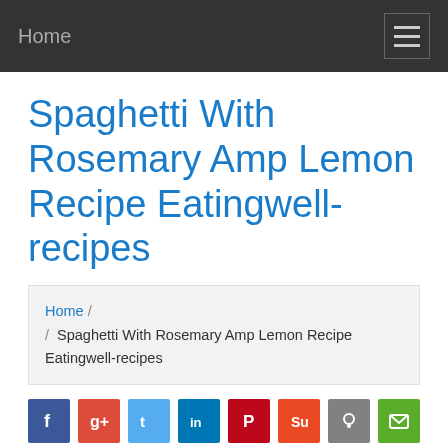Home
Spaghetti With Rosemary Amp Lemon Recipe Eatingwell-recipes
Home / Spaghetti With Rosemary Amp Lemon Recipe Eatingwell-recipes
[Figure (other): Social sharing icons: Facebook, Google+, Twitter, LinkedIn, Pinterest, StumbleUpon, Reddit, Email]
spaghetti with rosemary amp